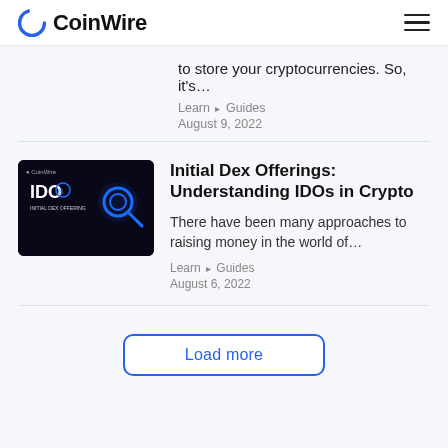CoinWire
to store your cryptocurrencies. So, it's…
Learn ▸ Guides
August 9, 2022
[Figure (screenshot): IDO - Initial Dex Offerings article thumbnail showing a blue glowing key and IDO text on dark background]
Initial Dex Offerings: Understanding IDOs in Crypto
There have been many approaches to raising money in the world of…
Learn ▸ Guides
August 6, 2022
Load more